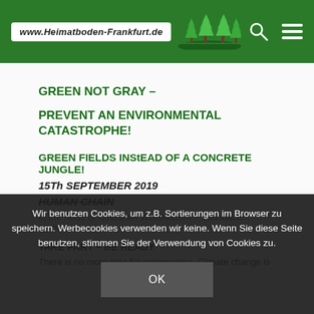www.Heimatboden-Frankfurt.de
GREEN NOT GRAY –
PREVENT AN ENVIRONMENTAL CATASTROPHE!
GREEN FIELDS INStEAD OF A CONCRETE JUNGLE!
15Th SEPTEMBER 2019
HUMAN CHAIN
In the fields of Oberursel Weißkirchen – Steinbach
02 PM
TAKE PART – BE READY
There is no more time for compromise. Climate change is
Wir benutzen Cookies, um z.B. Sortierungen im Browser zu speichern. Werbecookies verwenden wir keine. Wenn Sie diese Seite benutzen, stimmen Sie der Verwendung von Cookies zu.